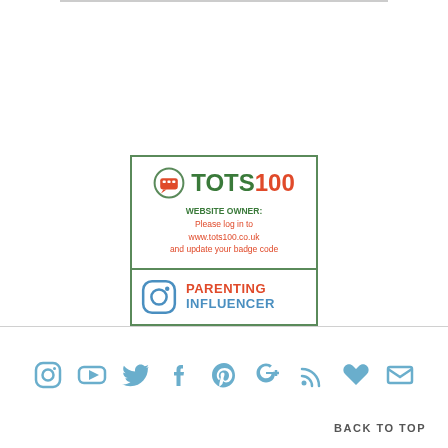[Figure (logo): TOTS100 badge with website owner login message and Instagram Parenting Influencer label]
[Figure (infographic): Row of social media icons: Instagram, YouTube, Twitter, Facebook, Pinterest, Google+, RSS, heart/Bloglovin, email]
BACK TO TOP